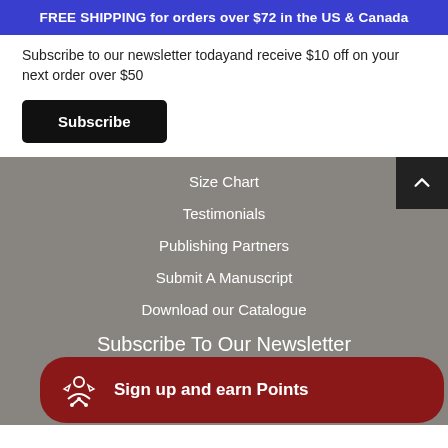FREE SHIPPING for orders over $72 in the US & Canada
Subscribe to our newsletter todayand receive $10 off on your next order over $50
Subscribe
Size Chart
Testimonials
Publishing Partners
Submit A Manuscript
Download our Catalogue
Subscribe To Our Newsletter
Stay up to date wi... exclusive co...
Sign up and earn Points